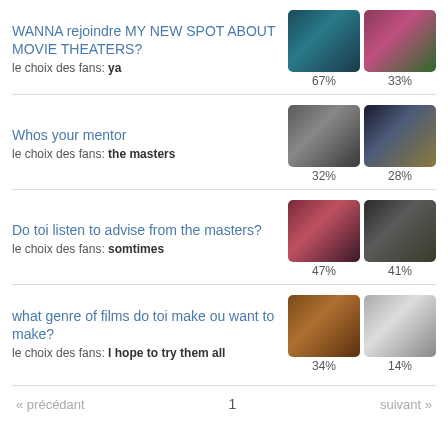WANNA rejoindre MY NEW SPOT ABOUT MOVIE THEATERS?
le choix des fans: ya
[images: 67%, 33%]
Whos your mentor
le choix des fans: the masters
[images: 32%, 28%]
Do toi listen to advise from the masters?
le choix des fans: somtimes
[images: 47%, 41%]
what genre of films do toi make ou want to make?
le choix des fans: I hope to try them all
[images: 34%, 14%]
« précédant    1    suivant »